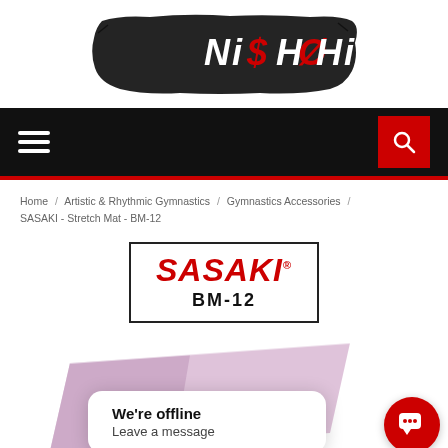[Figure (logo): Nishohi brand logo — stylized graffiti text on black brushstroke background]
[Figure (screenshot): Navigation bar with hamburger menu on left and red search button on right, on black background]
Home / Artistic & Rhythmic Gymnastics / Gymnastics Accessories / SASAKI - Stretch Mat - BM-12
[Figure (logo): SASAKI brand box with red italic SASAKI® logo and model number BM-12 below]
[Figure (photo): Partial photo of a light purple/lavender gymnastics stretch mat]
We're offline
Leave a message